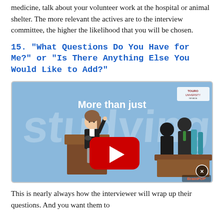medicine, talk about your volunteer work at the hospital or animal shelter. The more relevant the actives are to the interview committee, the higher the likelihood that you will be chosen.
15. "What Questions Do You Have for Me?" or "Is There Anything Else You Would Like to Add?"
[Figure (screenshot): YouTube video thumbnail showing an animated woman presenting at a podium with silhouetted interviewers on the right, text 'More than just' and a YouTube play button overlay. A Touro University logo is in the top right corner.]
This is nearly always how the interviewer will wrap up their questions. And you want them to